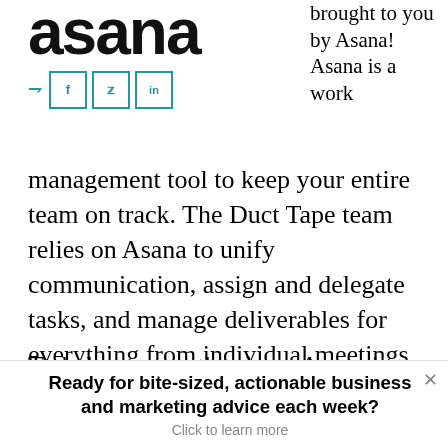[Figure (logo): Asana logo in large bold black text with social share buttons (Facebook, Twitter, LinkedIn) below]
brought to you by Asana! Asana is a work management tool to keep your entire team on track. The Duct Tape team relies on Asana to unify communication, assign and delegate tasks, and manage deliverables for everything from individual meetings to big client projects.
To help support the show, Asana is offering our listeners an exclusive deal. You can get a
Ready for bite-sized, actionable business and marketing advice each week? Click to learn more